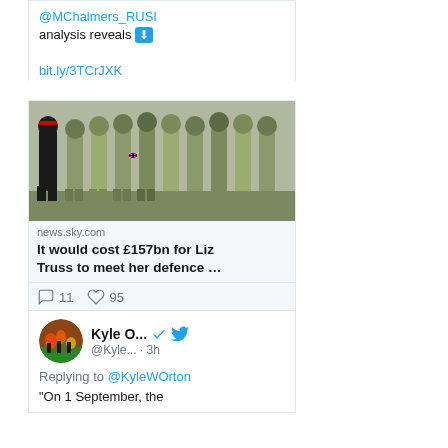@MChalmers_RUSI analysis reveals ⬇
bit.ly/3TCrJXK
[Figure (photo): Photo of military soldiers in camouflage uniforms marching in formation, with an officer in black uniform walking alongside them.]
news.sky.com
It would cost £157bn for Liz Truss to meet her defence …
11 comments, 95 likes
Kyle O... @Kyle... · 3h
Replying to @KyleWOrton
"On 1 September, the